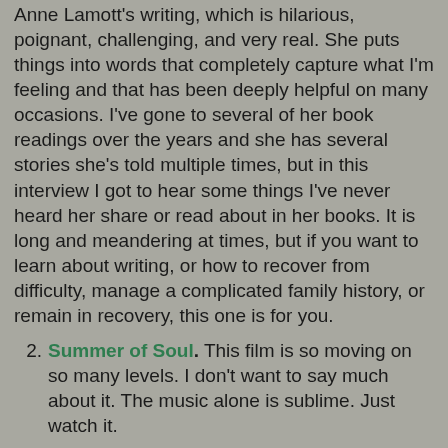Anne Lamott's writing, which is hilarious, poignant, challenging, and very real. She puts things into words that completely capture what I'm feeling and that has been deeply helpful on many occasions. I've gone to several of her book readings over the years and she has several stories she's told multiple times, but in this interview I got to hear some things I've never heard her share or read about in her books. It is long and meandering at times, but if you want to learn about writing, or how to recover from difficulty, manage a complicated family history, or remain in recovery, this one is for you.
Summer of Soul. This film is so moving on so many levels. I don't want to say much about it. The music alone is sublime. Just watch it.
The Knowledge Project podcast. This is a new addiction. It's a deep dive on the nuances and challenges of leadership in 2021. Jeff Immelt's description of leadership in a crisis should not be missed. Dig it.
The Vanishing of Harry Pace on Radiolab. Wow, this one captivated me. It took some cool left turns too. I